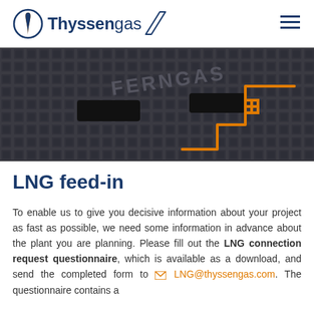Thyssengas
[Figure (photo): Close-up photograph of a cast iron manhole cover with 'FERNGAS' text embossed on it, featuring a decorative diamond grid pattern and orange/gold colored geometric lines drawn over it forming a pipeline diagram.]
LNG feed-in
To enable us to give you decisive information about your project as fast as possible, we need some information in advance about the plant you are planning. Please fill out the LNG connection request questionnaire, which is available as a download, and send the completed form to LNG@thyssengas.com. The questionnaire contains a